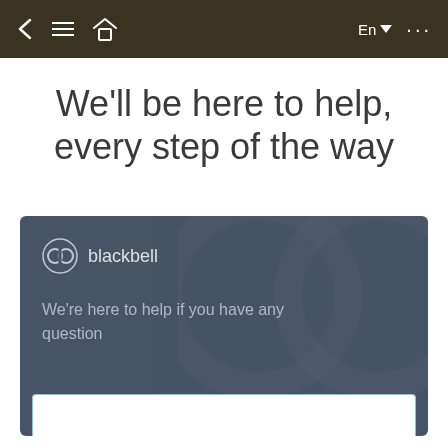< ≡ ⌂   En ▼  ...
We'll be here to help, every step of the way
[Figure (screenshot): Blackbell chat widget card on dark blue-grey background showing the Blackbell logo, brand name 'blackbell', and message 'We're here to help if you have any question', with a white text input area at the bottom.]